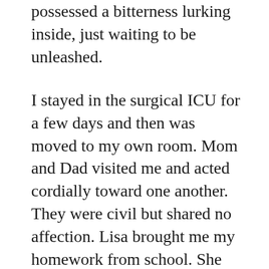possessed a bitterness lurking inside, just waiting to be unleashed.
I stayed in the surgical ICU for a few days and then was moved to my own room. Mom and Dad visited me and acted cordially toward one another. They were civil but shared no affection. Lisa brought me my homework from school. She said she was afraid of my tenth-grade English teacher, Mr. Rich, who reminded me of Danny DeVito from his Taxi days. I think Lisa said Mr. Rich